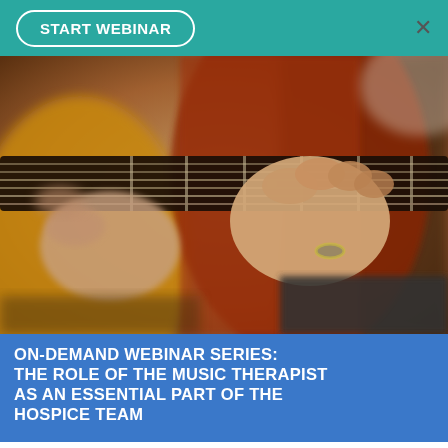START WEBINAR
[Figure (photo): Close-up photograph of a person playing an acoustic guitar, showing hands fretting chords on the guitar neck, with warm red-brown guitar body visible. Blurred background.]
ON-DEMAND WEBINAR SERIES: THE ROLE OF THE MUSIC THERAPIST AS AN ESSENTIAL PART OF THE HOSPICE TEAM
to offer our free interdisciplinary webinar series, live and on